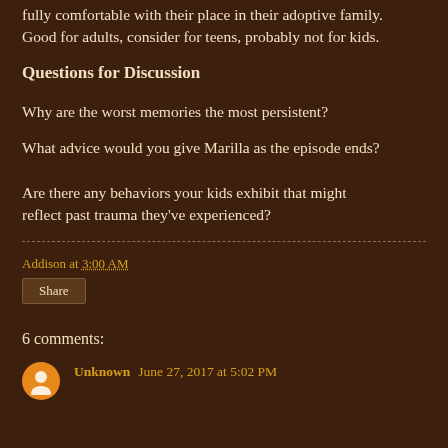fully comfortable with their place in their adoptive family. Good for adults, consider for teens, probably not for kids.
Questions for Discussion
Why are the worst memories the most persistent?
What advice would you give Marilla as the episode ends?
Are there any behaviors your kids exhibit that might reflect past trauma they've experienced?
Addison at 3:00 AM
Share
6 comments:
Unknown June 27, 2017 at 5:02 PM